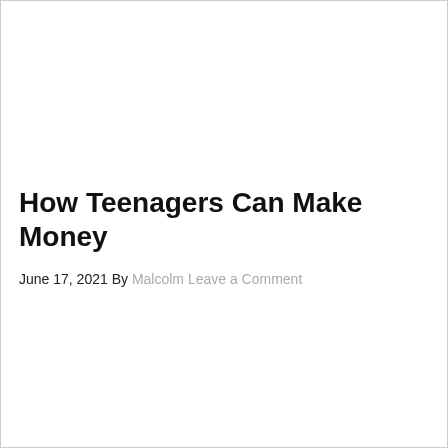How Teenagers Can Make Money
June 17, 2021 By Malcolm Leave a Comment